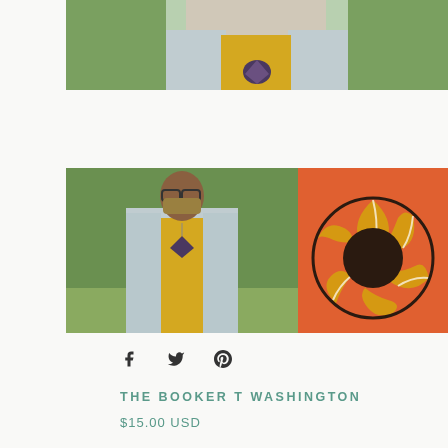[Figure (photo): Cropped photo showing person wearing yellow top and light gray cardigan with a dark purple/geometric necklace pendant, green trees in background]
[Figure (photo): Left: Full body photo of a woman with short hair and glasses wearing a face mask, yellow top, light gray cardigan and a dark geometric necklace pendant, standing outdoors with greenery. Right: Close-up of a sunflower-inspired brooch/pendant with black dark center and yellow/black/white swirling petals on orange fabric background]
[Figure (infographic): Social sharing icons: Facebook (f), Twitter (bird), Pinterest (P)]
THE BOOKER T WASHINGTON
$15.00 USD